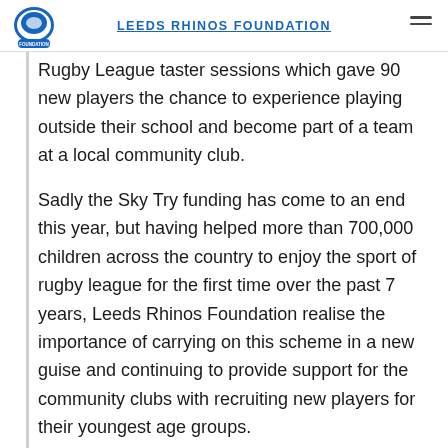LEEDS RHINOS FOUNDATION
Rugby League taster sessions which gave 90 new players the chance to experience playing outside their school and become part of a team at a local community club.
Sadly the Sky Try funding has come to an end this year, but having helped more than 700,000 children across the country to enjoy the sport of rugby league for the first time over the past 7 years, Leeds Rhinos Foundation realise the importance of carrying on this scheme in a new guise and continuing to provide support for the community clubs with recruiting new players for their youngest age groups.
The new programme of 'Rhinos taster